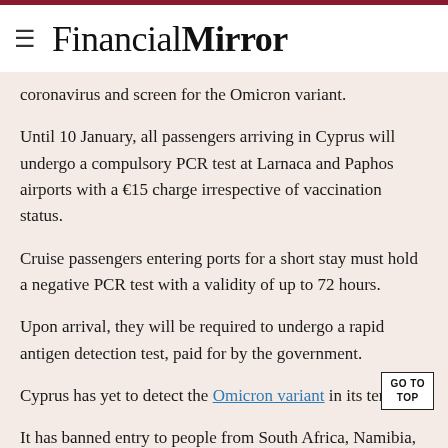≡ FinancialMirror
coronavirus and screen for the Omicron variant.
Until 10 January, all passengers arriving in Cyprus will undergo a compulsory PCR test at Larnaca and Paphos airports with a €15 charge irrespective of vaccination status.
Cruise passengers entering ports for a short stay must hold a negative PCR test with a validity of up to 72 hours.
Upon arrival, they will be required to undergo a rapid antigen detection test, paid for by the government.
Cyprus has yet to detect the Omicron variant in its territory.
It has banned entry to people from South Africa, Namibia, Lesotho, Eswatini, Zimbabwe, Mozambique, Malawi, and Botswana.
Also from 6 December until the end of the month, 20%